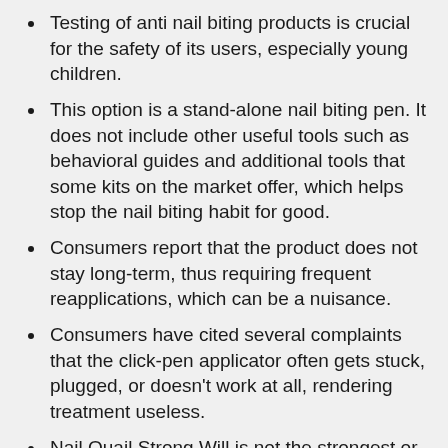Testing of anti nail biting products is crucial for the safety of its users, especially young children.
This option is a stand-alone nail biting pen. It does not include other useful tools such as behavioral guides and additional tools that some kits on the market offer, which helps stop the nail biting habit for good.
Consumers report that the product does not stay long-term, thus requiring frequent reapplications, which can be a nuisance.
Consumers have cited several complaints that the click-pen applicator often gets stuck, plugged, or doesn't work at all, rendering treatment useless.
Nail Quail Strong Will is not the strongest or safest anti-nail biting formula on the market today.